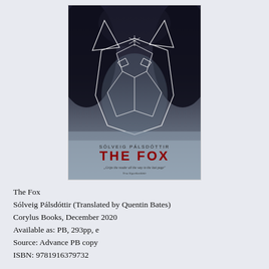[Figure (illustration): Book cover of 'The Fox' by Sólveig Pálsdóttir, translated by Quentin Bates. Dark moody cover with a geometric line-art fox head overlaid on a dark background. Author name at bottom in small caps, title 'THE FOX' in large red letters, and a quote below.]
The Fox
Sólveig Pálsdóttir (Translated by Quentin Bates)
Corylus Books, December 2020
Available as: PB, 293pp, e
Source: Advance PB copy
ISBN: 9781916379732
I'm grateful to the publisher for an advance copy of The Fox to consider for review and for inviting me to take part in the book's